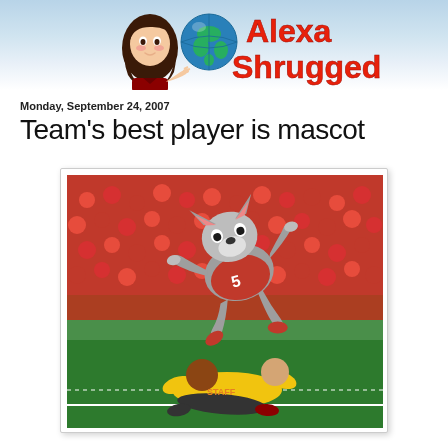[Figure (illustration): Blog header with animated avatar of a dark-haired woman, a globe emoji, and the text 'Alexa Shrugged' in red bold font on a light blue sky background]
Monday, September 24, 2007
Team's best player is mascot
[Figure (photo): A sports mascot dressed as a wolf in a red jersey leaping through the air over two people wrestling on a football field, with a crowd of fans in red in the background]